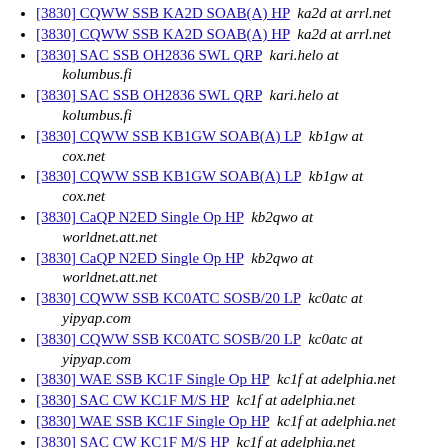[3830] CQWW SSB KA2D SOAB(A) HP  ka2d at arrl.net
[3830] CQWW SSB KA2D SOAB(A) HP  ka2d at arrl.net
[3830] SAC SSB OH2836 SWL QRP  kari.helo at kolumbus.fi
[3830] SAC SSB OH2836 SWL QRP  kari.helo at kolumbus.fi
[3830] CQWW SSB KB1GW SOAB(A) LP  kb1gw at cox.net
[3830] CQWW SSB KB1GW SOAB(A) LP  kb1gw at cox.net
[3830] CaQP N2ED Single Op HP  kb2qwo at worldnet.att.net
[3830] CaQP N2ED Single Op HP  kb2qwo at worldnet.att.net
[3830] CQWW SSB KC0ATC SOSB/20 LP  kc0atc at yipyap.com
[3830] CQWW SSB KC0ATC SOSB/20 LP  kc0atc at yipyap.com
[3830] WAE SSB KC1F Single Op HP  kc1f at adelphia.net
[3830] SAC CW KC1F M/S HP  kc1f at adelphia.net
[3830] WAE SSB KC1F Single Op HP  kc1f at adelphia.net
[3830] SAC CW KC1F M/S HP  kc1f at adelphia.net
[3830] SAC SSB KC1F M/S HP  kc1f at adelphia.net
[3830] SAC SSB KC1F M/S HP  kc1f at adelphia.net
[3830] CQWW SSB KC1F SOAB HP  kc1f at adelphia.net